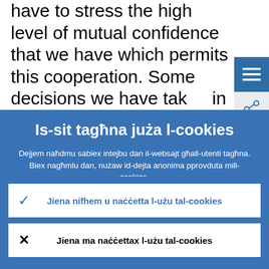have to stress the high level of mutual confidence that we have which permits this cooperation. Some decisions we have taken in a very short span of time across the Atlantic, despite the time lag. I think it's
Is-sit tagħna juża l-cookies
Dejjem naħdmu sabiex intejbu dan il-websajt għall-utenti tagħna. Biex nagħmlu dan, nużaw id-dejta anonima pprovduta mill-cookies.
› Tgħallem iktar dwar kif nużaw il-cookies
✓ Jiena nifhem u naċċetta l-użu tal-cookies
✕ Jiena ma naċċettax l-użu tal-cookies